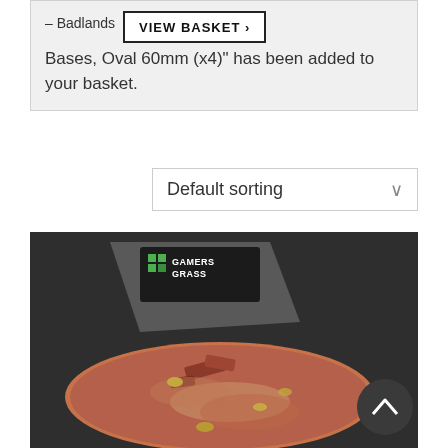– Badlands Bases, Oval 60mm (x4)" has been added to your basket.
[Figure (screenshot): View Basket button with bold text and arrow]
[Figure (screenshot): Default sorting dropdown selector]
[Figure (photo): Photo of Gamers Grass Badlands Bases oval 60mm product showing reddish-brown textured oval base with rocks and tufts on dark background]